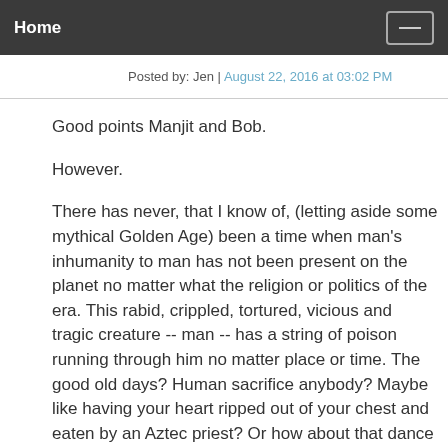Home
Posted by: Jen | August 22, 2016 at 03:02 PM
Good points Manjit and Bob.

However.

There has never, that I know of, (letting aside some mythical Golden Age) been a time when man's inhumanity to man has not been present on the planet no matter what the religion or politics of the era. This rabid, crippled, tortured, vicious and tragic creature -- man -- has a string of poison running through him no matter place or time. The good old days? Human sacrifice anybody? Maybe like having your heart ripped out of your chest and eaten by an Aztec priest? Or how about that dance macabre -- the Massacre of Merindol in 1545, at the hands of the Papal and Provincal army of France? They slaughtered thousands of quiet, rural, Waldenses --- all Christians. They slaughtered...